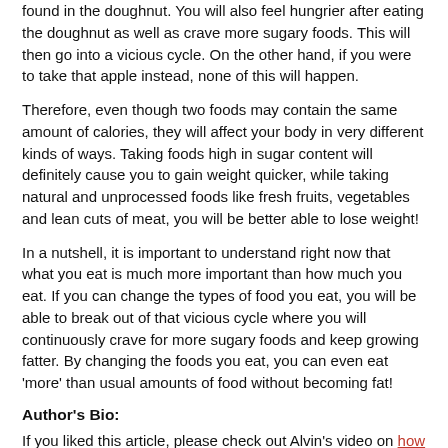found in the doughnut. You will also feel hungrier after eating the doughnut as well as crave more sugary foods. This will then go into a vicious cycle. On the other hand, if you were to take that apple instead, none of this will happen.
Therefore, even though two foods may contain the same amount of calories, they will affect your body in very different kinds of ways. Taking foods high in sugar content will definitely cause you to gain weight quicker, while taking natural and unprocessed foods like fresh fruits, vegetables and lean cuts of meat, you will be better able to lose weight!
In a nutshell, it is important to understand right now that what you eat is much more important than how much you eat. If you can change the types of food you eat, you will be able to break out of that vicious cycle where you will continuously crave for more sugary foods and keep growing fatter. By changing the foods you eat, you can even eat 'more' than usual amounts of food without becoming fat!
Author's Bio:
If you liked this article, please check out Alvin's video on how to lose arm fat .
Also do learn how to lose belly fat .
FREE Newsletters Sign-Up